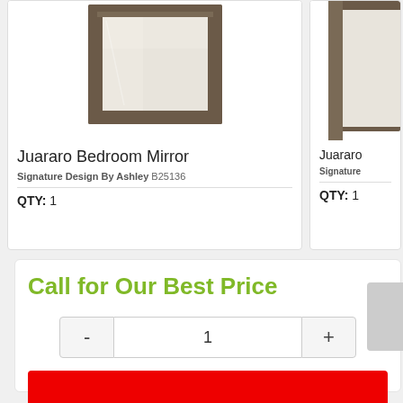[Figure (photo): Juararo Bedroom Mirror product photo — wood-framed rectangular mirror with dark grayish-brown finish]
Juararo Bedroom Mirror
Signature Design By Ashley B25136
QTY: 1
[Figure (photo): Partial view of a second Juararo product (right card, cropped)]
Juararo
Signature
QTY: 1
Call for Our Best Price
- 1 +